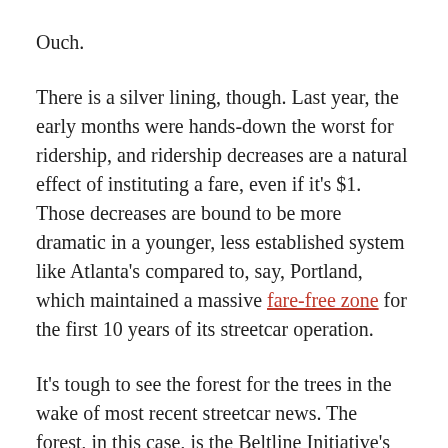Ouch.
There is a silver lining, though. Last year, the early months were hands-down the worst for ridership, and ridership decreases are a natural effect of instituting a fare, even if it's $1. Those decreases are bound to be more dramatic in a younger, less established system like Atlanta's compared to, say, Portland, which maintained a massive fare-free zone for the first 10 years of its streetcar operation.
It's tough to see the forest for the trees in the wake of most recent streetcar news. The forest, in this case, is the Beltline Initiative's long-term plan. Ridership numbers look low right now, but, let's face it, it isn't serving some major communities in the city. It basically takes kids